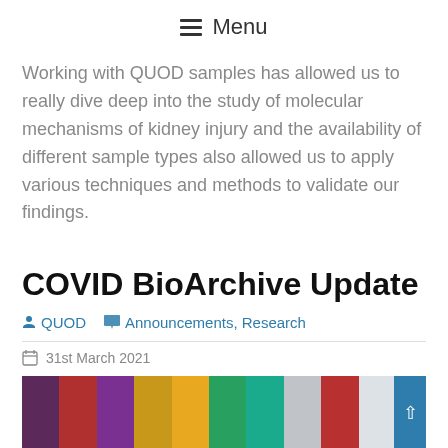≡ Menu
Working with QUOD samples has allowed us to really dive deep into the study of molecular mechanisms of kidney injury and the availability of different sample types also allowed us to apply various techniques and methods to validate our findings.
COVID BioArchive Update
QUOD   Announcements, Research
31st March 2021
[Figure (photo): Row of colourful sample tubes/vials with caps in purple, red, orange, yellow, green, teal, grey, and white colours on a laboratory bench]